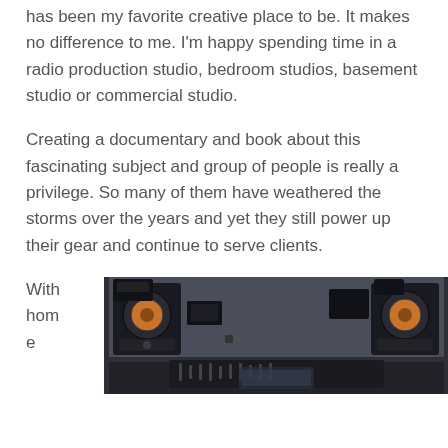has been my favorite creative place to be. It makes no difference to me. I'm happy spending time in a radio production studio, bedroom studios, basement studio or commercial studio.
Creating a documentary and book about this fascinating subject and group of people is really a privilege. So many of them have weathered the storms over the years and yet they still power up their gear and continue to serve clients.
With home
[Figure (photo): Interior of a recording studio showing large studio monitor speakers mounted on the wall above a mixing console area, photographed in a dark/moody style]